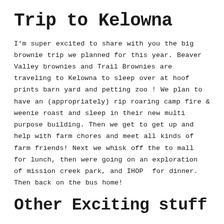Trip to Kelowna
I'm super excited to share with you the big brownie trip we planned for this year. Beaver Valley brownies and Trail Brownies are traveling to Kelowna to sleep over at hoof prints barn yard and petting zoo ! We plan to have an (appropriately) rip roaring camp fire & weenie roast and sleep in their new multi purpose building. Then we get to get up and help with farm chores and meet all kinds of farm friends! Next we whisk off the to mall for lunch, then were going on an exploration of mission creek park, and IHOP  for dinner. Then back on the bus home!
Other Exciting stuff
Trail Brownies had a Mad scientist night. The girls were invited to wear white dress shirts and goggles or safety